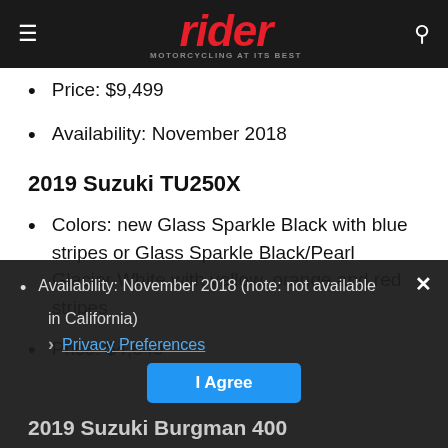rider — MOTORCYCLING AT ITS BEST
Price: $9,499
Availability: November 2018
2019 Suzuki TU250X
Colors: new Glass Sparkle Black with blue stripes or Glass Sparkle Black/Pearl Glacier White with yellow, orange and red stripes
Price: $4,649
Availability: November 2018 (note: not available in California)
Privacy Preferences
2019 Suzuki Burgman 400